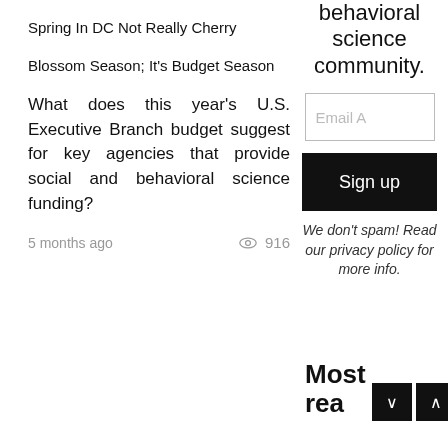behavioral science community.
Email A
Sign up
We don't spam! Read our privacy policy for more info.
Spring In DC Not Really Cherry Blossom Season; It's Budget Season
What does this year's U.S. Executive Branch budget suggest for key agencies that provide social and behavioral science funding?
5 months ago
916
Most rea